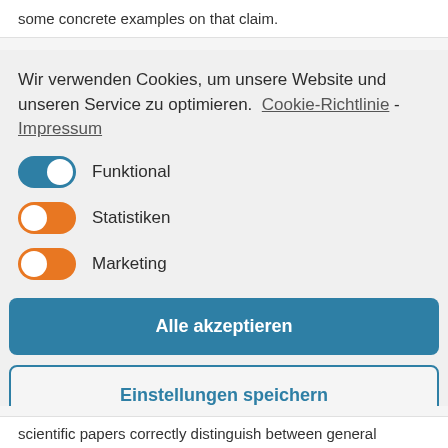some concrete examples on that claim.
Wir verwenden Cookies, um unsere Website und unseren Service zu optimieren.  Cookie-Richtlinie - Impressum
[Figure (infographic): Cookie consent toggle switches: Funktional (blue, on), Statistiken (orange, on), Marketing (orange, on)]
Alle akzeptieren
Einstellungen speichern
scientific papers correctly distinguish between general